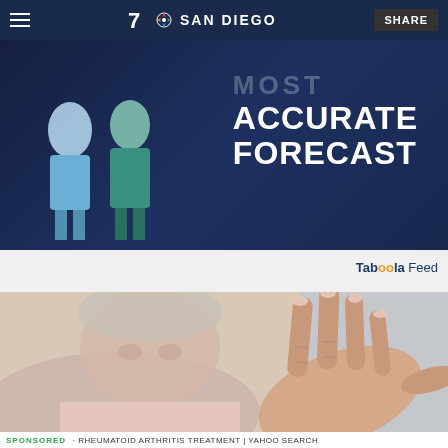NBC 7 San Diego | SHARE
[Figure (photo): Advertisement banner with text 'MOST ACCURATE FORECAST' and people silhouettes on dark navy background]
Taboola Feed
[Figure (photo): Elderly woman holding up her hand showing arthritic fingers close to camera, blurred face in background]
SPONSORED · RHEUMATOID ARTHRITIS TREATMENT | YAHOO SEARCH